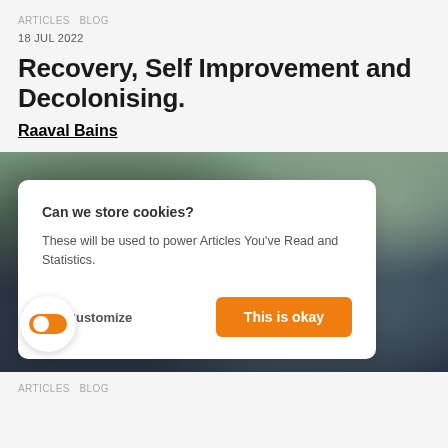ARTICLES  BLOG
18 JUL 2022
Recovery, Self Improvement and Decolonising.
Raaval Bains
[Figure (photo): A person photographing with a camera, blurred outdoor background with greenery and street scene]
Can we store cookies?
These will be used to power Articles You've Read and Statistics.
No, Customize
This is okay
ARTICLES  BLOG